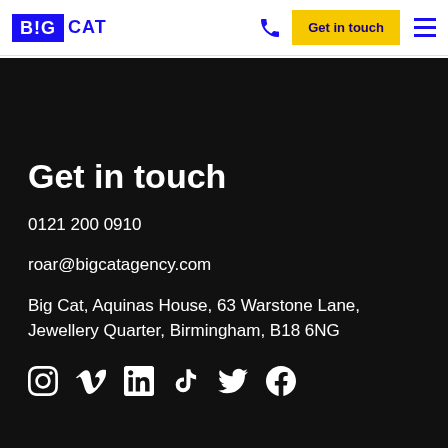BIG CAT — Get in touch
Get in touch
0121 200 0910
roar@bigcatagency.com
Big Cat, Aquinas House, 63 Warstone Lane, Jewellery Quarter, Birmingham, B18 6NG
[Figure (other): Social media icons: Instagram, Vimeo, LinkedIn, TikTok, Twitter, Facebook]